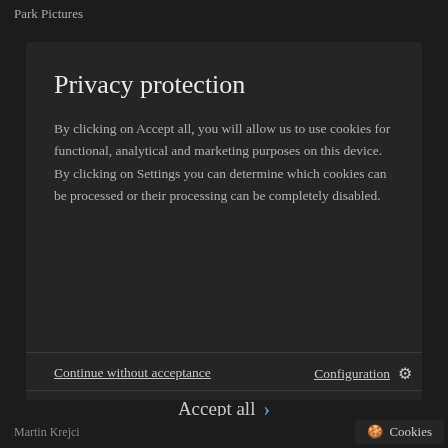Park Pictures
Privacy protection
By clicking on Accept all, you will allow us to use cookies for functional, analytical and marketing purposes on this device. By clicking on Settings you can determine which cookies can be processed or their processing can be completely disabled.
Continue without acceptance
Configuration
Accept all
Martin Krejci   Cookies